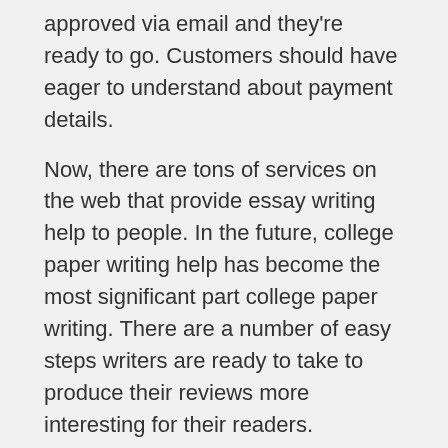approved via email and they're ready to go. Customers should have eager to understand about payment details.
Now, there are tons of services on the web that provide essay writing help to people. In the future, college paper writing help has become the most significant part college paper writing. There are a number of easy steps writers are ready to take to produce their reviews more interesting for their readers.
Be Sociable, Share!